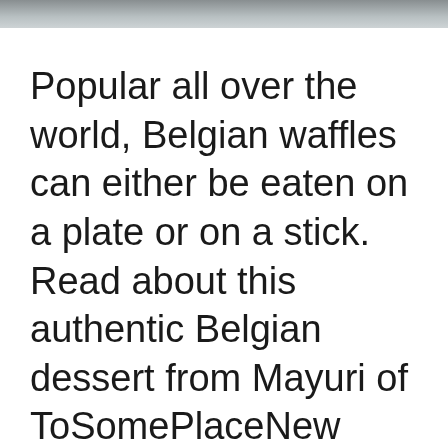[Figure (photo): Partial photo visible at the top of the page, showing a blurred grayish image, cropped at the bottom edge of the strip.]
Popular all over the world, Belgian waffles can either be eaten on a plate or on a stick. Read about this authentic Belgian dessert from Mayuri of ToSomePlaceNew